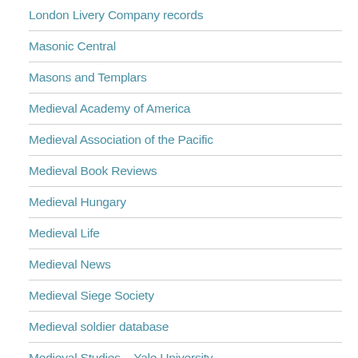London Livery Company records
Masonic Central
Masons and Templars
Medieval Academy of America
Medieval Association of the Pacific
Medieval Book Reviews
Medieval Hungary
Medieval Life
Medieval News
Medieval Siege Society
Medieval soldier database
Medieval Studies – Yale University
Medievalist…